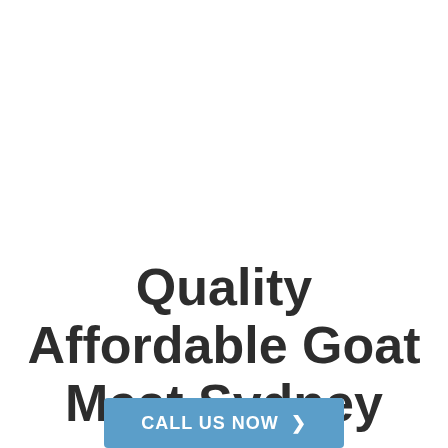Quality Affordable Goat Meat Sydney
CALL US NOW ❯